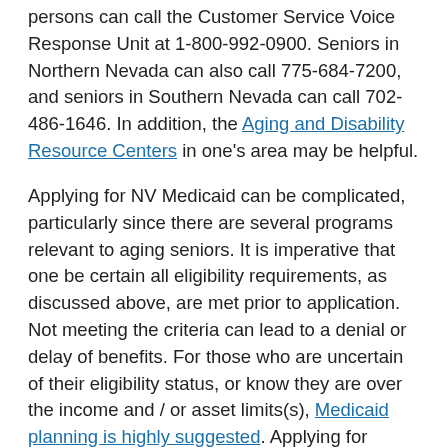persons can call the Customer Service Voice Response Unit at 1-800-992-0900. Seniors in Northern Nevada can also call 775-684-7200, and seniors in Southern Nevada can call 702-486-1646. In addition, the Aging and Disability Resource Centers in one's area may be helpful.
Applying for NV Medicaid can be complicated, particularly since there are several programs relevant to aging seniors. It is imperative that one be certain all eligibility requirements, as discussed above, are met prior to application. Not meeting the criteria can lead to a denial or delay of benefits. For those who are uncertain of their eligibility status, or know they are over the income and / or asset limits(s), Medicaid planning is highly suggested. Applying for Medicaid entails more than just submitting an application. For instance, supportive documentation must also be included with the application. For more information